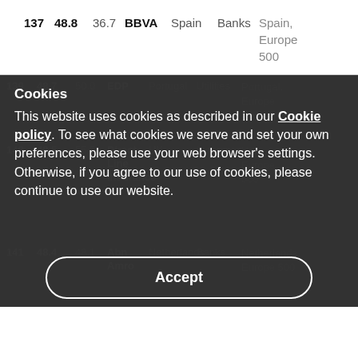| 137 | 48.8 | 36.7 | BBVA | Spain | Banks | Spain, Europe 500 |
| 139 | 48.7 | 50.0 | EDP | Portugal | Utilities | Portugal, Europe 500 |
| 140 | 48.5 | 55.5 | Direct Line Insurance | UK | Insurance | UK, Europe 500 |
| 141 | 48.4 | 48.1 | Abn Amro | Netherlands | Banks | Netherlands, Europe 500 |
Cookies
This website uses cookies as described in our Cookie policy. To see what cookies we serve and set your own preferences, please use your web browser's settings. Otherwise, if you agree to our use of cookies, please continue to use our website.
Accept